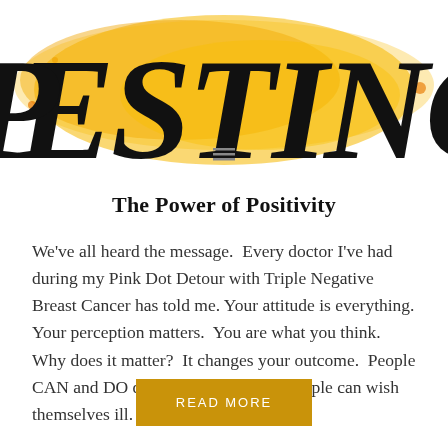[Figure (illustration): Top portion of a decorative title graphic showing large black stylized letters 'POSITIVE' or similar word with yellow and orange watercolor paint splash background]
The Power of Positivity
We've all heard the message.  Every doctor I've had during my Pink Dot Detour with Triple Negative Breast Cancer has told me. Your attitude is everything.  Your perception matters.  You are what you think.  Why does it matter?  It changes your outcome.  People CAN and DO die of broken hearts.  People can wish themselves ill. …
READ MORE